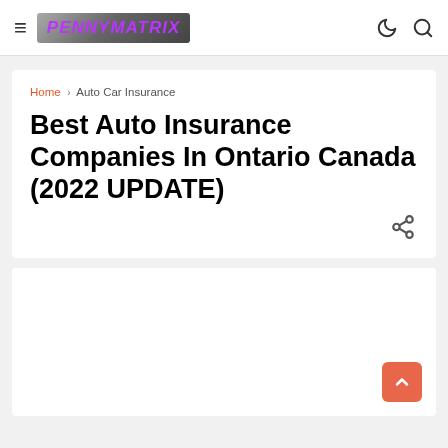PennyMatrix
Home › Auto Car Insurance
Best Auto Insurance Companies In Ontario Canada (2022 UPDATE)
[Figure (illustration): Article featured image placeholder (white box)]